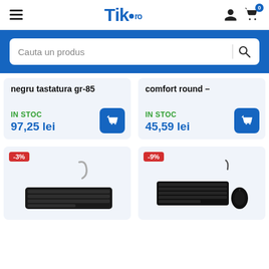Tik.ro - navigation header with hamburger menu, logo, user icon, cart icon (0)
Cauta un produs
negru tastatura gr-85
IN STOC
97,25 lei
comfort round –
IN STOC
45,59 lei
[Figure (photo): Black wired keyboard with USB cable, -3% discount badge]
[Figure (photo): Black wired keyboard and mouse combo, -9% discount badge]